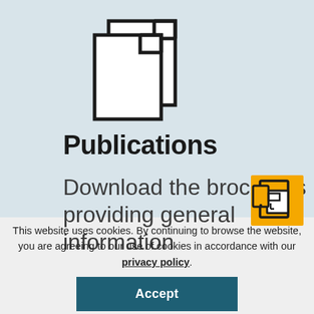[Figure (illustration): Two overlapping document/file icons in black outline on light blue background]
Publications
Download the brochures providing general information
[Figure (illustration): Yellow icon of a tablet/device with documents, black outline]
This website uses cookies. By continuing to browse the website, you are agreeing to our use of cookies in accordance with our privacy policy.
Accept